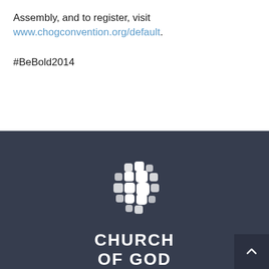Assembly, and to register, visit www.chogconvention.org/default.
#BeBold2014
[Figure (logo): Church of God logo: white geometric cross/flower pattern made of rounded squares, with text CHURCH OF GOD below in white on dark blue-gray background]